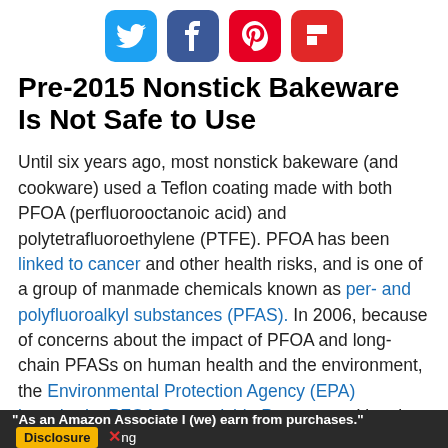[Figure (other): Social sharing icons: Twitter (blue), Facebook (dark blue), Pinterest (red), Flipboard (red)]
Pre-2015 Nonstick Bakeware Is Not Safe to Use
Until six years ago, most nonstick bakeware (and cookware) used a Teflon coating made with both PFOA (perfluorooctanoic acid) and polytetrafluoroethylene (PTFE). PFOA has been linked to cancer and other health risks, and is one of a group of manmade chemicals known as per- and polyfluoroalkyl substances (PFAS). In 2006, because of concerns about the impact of PFOA and long-chain PFASs on human health and the environment, the Environmental Protection Agency (EPA) launched a PFOA Stewardship Program, asking the eight leading companies in the PFAS industry to commit to voluntarily eliminating PFOA and related chemicals and emissions by 2015.
PTFE continues to be used in Teflon and other nonstick coatings, and while some people have concerns about its safety, most experts consider nonstick bakeware and cookware with coatings containing PTFE to be safe...
"As an Amazon Associate I (we) earn from purchases." Disclosure ✕ng